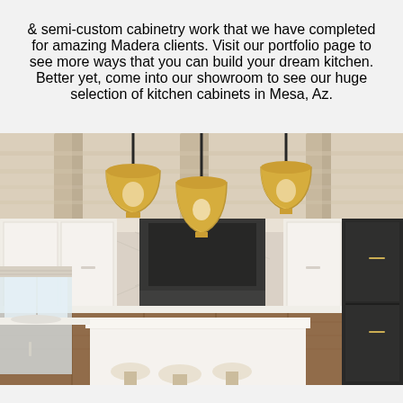& semi-custom cabinetry work that we have completed for amazing Madera clients. Visit our portfolio page to see more ways that you can build your dream kitchen. Better yet, come into our showroom to see our huge selection of kitchen cabinets in Mesa, Az.
[Figure (photo): Interior photo of a luxury kitchen with white upper cabinets, warm wood lower cabinets, a large white island with bar stools, three gold/brass pendant lights hanging from a wood beam ceiling, a black refrigerator on the right side, and marble-look backsplash.]